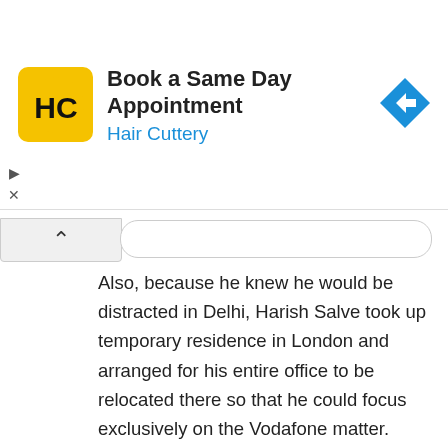[Figure (infographic): Hair Cuttery advertisement banner: yellow square logo with 'HC' text, bold title 'Book a Same Day Appointment', subtitle 'Hair Cuttery' in blue, and a blue diamond navigation arrow icon on the right.]
Also, because he knew he would be distracted in Delhi, Harish Salve took up temporary residence in London and arranged for his entire office to be relocated there so that he could focus exclusively on the Vodafone matter.
In all the interviews that he gave in the wake of the spectacular Vodafone success, Harish Salve emphasized one point again and again. The need for hard work and industry if one wants to be a good lawyer. “You must have the ability and the desire to work long hours with great concentration and enthusiasm. You must be enthusiastic about the matter and always be...